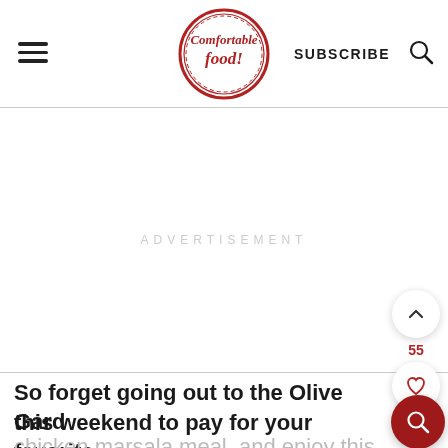[Figure (logo): Comfortable Food logo — circular red stamp-style badge with text 'Comfortable food!' in cursive red lettering]
SUBSCRIBE
ADVERTISEMENT
55
So forget going out to the Olive Garden this weekend to pay for your favorite
chicken marsala meal, and enjoy this